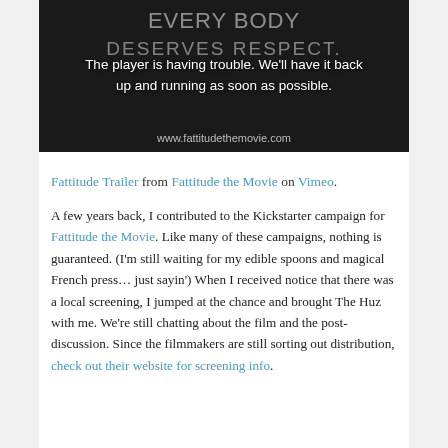[Figure (screenshot): Video player error screen with dark background. Shows text overlay: 'The player is having trouble. We'll have it back up and running as soon as possible.' Background shows partially visible text 'EVERY BODY' and 'DESERVES RESPECT.' with a cartoon figure. URL 'www.fattitudethemovie.com' visible at bottom.]
Fattitude Trailer from Fattitude the Movie on Vimeo.
A few years back, I contributed to the Kickstarter campaign for Fattitude the Movie. Like many of these campaigns, nothing is guaranteed. (I'm still waiting for my edible spoons and magical French press… just sayin') When I received notice that there was a local screening, I jumped at the chance and brought The Huz with me. We're still chatting about the film and the post-discussion. Since the filmmakers are still sorting out distribution, check out their website for screening info.